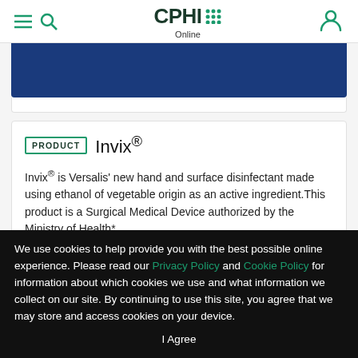CPHI Online
[Figure (illustration): Blue banner image partially visible at top of content area]
PRODUCT Invix®
Invix® is Versalis' new hand and surface disinfectant made using ethanol of vegetable origin as an active ingredient.This product is a Surgical Medical Device authorized by the Ministry of Health*,...
[Figure (logo): Eni/Versalis company logo - yellow and red ENI logo with text versalis below]
We use cookies to help provide you with the best possible online experience. Please read our Privacy Policy and Cookie Policy for information about which cookies we use and what information we collect on our site. By continuing to use this site, you agree that we may store and access cookies on your device.
I Agree